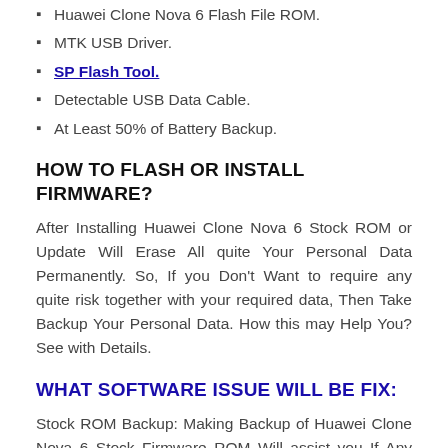Huawei Clone Nova 6 Flash File ROM.
MTK USB Driver.
SP Flash Tool.
Detectable USB Data Cable.
At Least 50% of Battery Backup.
HOW TO FLASH OR INSTALL FIRMWARE?
After Installing Huawei Clone Nova 6 Stock ROM or Update Will Erase All quite Your Personal Data Permanently. So, If you Don’t Want to require any quite risk together with your required data, Then Take Backup Your Personal Data. How this may Help You? See with Details.
WHAT SOFTWARE ISSUE WILL BE FIX:
Stock ROM Backup: Making Backup of Huawei Clone Nova 6 Stock Firmware ROM Will assist you If Any quite Wrong Happened After Installing Stock ROM On your Huawei Clone Nova 6 Smartphone. you’ll Recover Your Device Easily To the rear Condition With the Backup Firmware. Some Professional